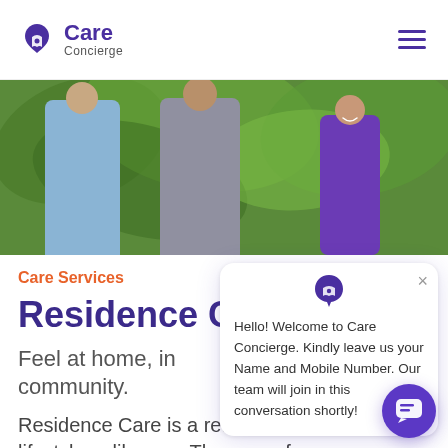[Figure (logo): Care Concierge logo with house icon and text]
[Figure (photo): Elderly couple walking outdoors assisted by a caregiver in purple uniform, surrounded by green tropical foliage]
Care Services
Residence C
Feel at home, in community.
Residence Care is a retirement lifestyle unlike any. These are fully furnished accommodations, nestled
[Figure (screenshot): Chat popup: Hello! Welcome to Care Concierge. Kindly leave us your Name and Mobile Number. Our team will join in this conversation shortly!]
[Figure (illustration): Purple chat button/bubble at bottom right of screen]